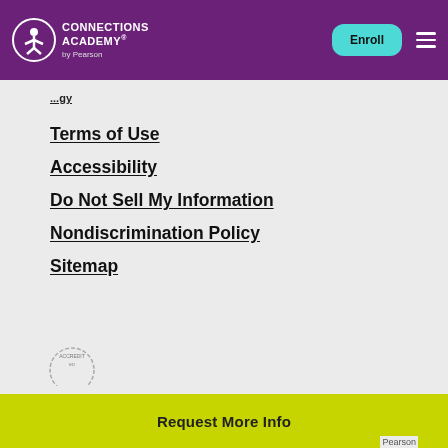Connections Academy by Pearson — Enroll
...gy (partial link)
Terms of Use
Accessibility
Do Not Sell My Information
Nondiscrimination Policy
Sitemap
[Figure (logo): Accreditation seal badge (partially visible)]
Request More Info
Pearson